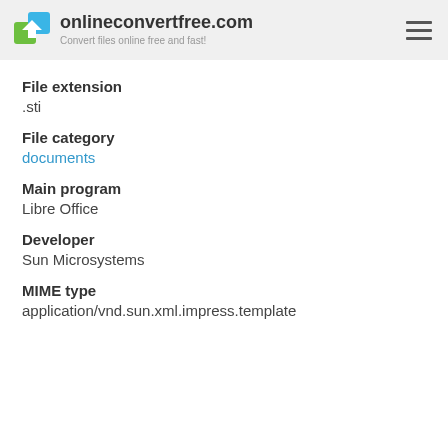onlineconvertfree.com — Convert files online free and fast!
File extension
.sti
File category
documents
Main program
Libre Office
Developer
Sun Microsystems
MIME type
application/vnd.sun.xml.impress.template